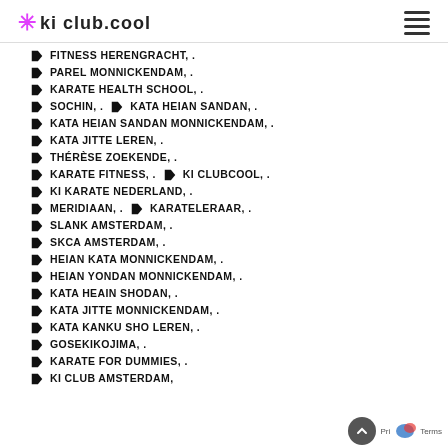ki club.cool
FITNESS HERENGRACHT, .
PAREL MONNICKENDAM, .
KARATE HEALTH SCHOOL, .
SOCHIN, .  KATA HEIAN SANDAN, .
KATA HEIAN SANDAN MONNICKENDAM, .
KATA JITTE LEREN, .
THÉRÈSE ZOEKENDE, .
KARATE FITNESS, .  KI CLUBCOOL, .
KI KARATE NEDERLAND, .
MERIDIAAN, .  KARATELERAAR, .
SLANK AMSTERDAM, .
SKCA AMSTERDAM, .
HEIAN KATA MONNICKENDAM, .
HEIAN YONDAN MONNICKENDAM, .
KATA HEAIN SHODAN, .
KATA JITTE MONNICKENDAM, .
KATA KANKU SHO LEREN, .
GOSEKIKOJIMA, .
KARATE FOR DUMMIES, .
KI CLUB AMSTERDAM, .